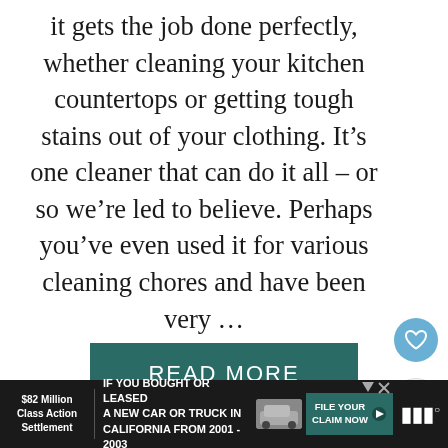it gets the job done perfectly, whether cleaning your kitchen countertops or getting tough stains out of your clothing. It's one cleaner that can do it all – or so we're led to believe. Perhaps you've even used it for various cleaning chores and have been very …
READ MORE
[Figure (photo): Photo of cleaning product bottles on a shelf/conveyor]
WHAT'S NEXT → 10 Amazing Ways To Sto...
$82 Million Class Action Settlement | IF YOU BOUGHT OR LEASED A NEW CAR OR TRUCK IN CALIFORNIA FROM 2001 - 2003 | FILE YOUR CLAIM NOW